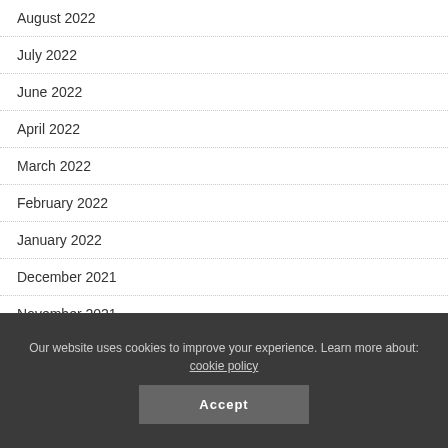August 2022
July 2022
June 2022
April 2022
March 2022
February 2022
January 2022
December 2021
November 2021
Our website uses cookies to improve your experience. Learn more about: cookie policy
Accept